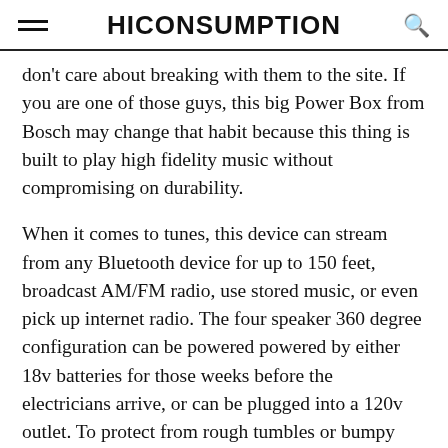HICONSUMPTION
don't care about breaking with them to the site. If you are one of those guys, this big Power Box from Bosch may change that habit because this thing is built to play high fidelity music without compromising on durability.
When it comes to tunes, this device can stream from any Bluetooth device for up to 150 feet, broadcast AM/FM radio, use stored music, or even pick up internet radio. The four speaker 360 degree configuration can be powered powered by either 18v batteries for those weeks before the electricians arrive, or can be plugged into a 120v outlet. To protect from rough tumbles or bumpy rides in the back of your pickup, all of that sweet